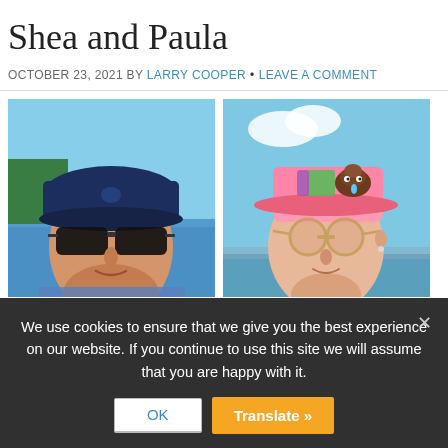Shea and Paula
OCTOBER 23, 2021 BY LARRY COOPER • LEAVE A COMMENT
[Figure (photo): Two side-by-side photos: left photo shows a person wearing a dark blue baseball cap and dark sunglasses outdoors near water; right photo shows a person wearing a pink trucker hat with a poop emoji graphic and sunglasses outdoors.]
We use cookies to ensure that we give you the best experience on our website. If you continue to use this site we will assume that you are happy with it.